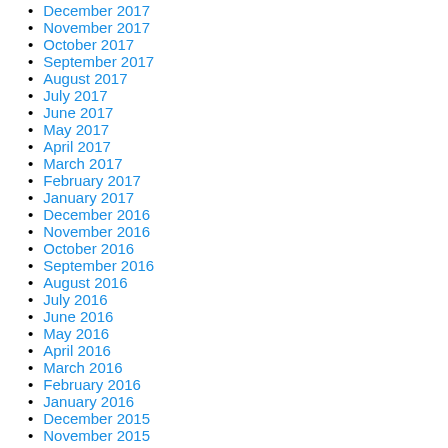December 2017
November 2017
October 2017
September 2017
August 2017
July 2017
June 2017
May 2017
April 2017
March 2017
February 2017
January 2017
December 2016
November 2016
October 2016
September 2016
August 2016
July 2016
June 2016
May 2016
April 2016
March 2016
February 2016
January 2016
December 2015
November 2015